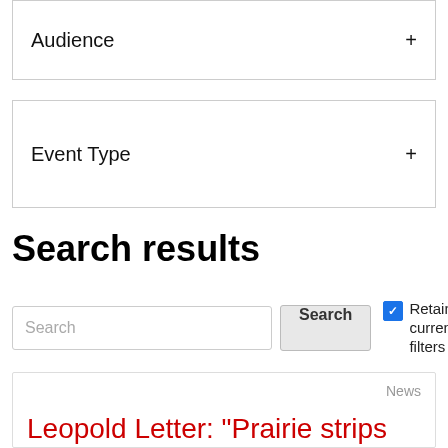Audience
Event Type
Search results
Search [input] Search [button] ☑ Retain current filters
News
Leopold Letter: "Prairie strips